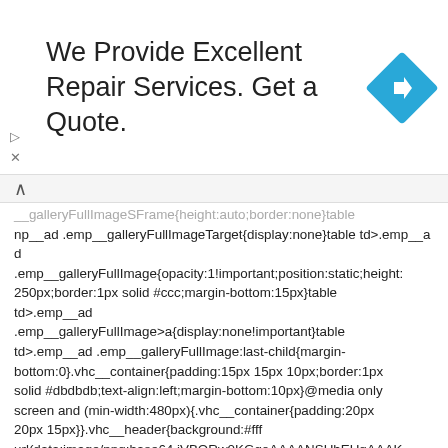[Figure (other): Advertisement banner: 'We Provide Excellent Repair Services. Get a Quote.' with a blue diamond road sign icon on the right, and navigation arrows on the left side.]
__galleryFullImageSFrame{height:auto;border:none}table np__ad .galleryFullImageTarget{display:none}table td>.emp__ad .emp__galleryFullImage{opacity:1!important;position:static;height:250px;border:1px solid #ccc;margin-bottom:15px}table td>.emp__ad .emp__galleryFullImage>a{display:none!important}table td>.emp__ad .emp__galleryFullImage:last-child{margin-bottom:0}.vhc__container{padding:15px 15px 10px;border:1px solid #dbdbdb;text-align:left;margin-bottom:10px}@media only screen and (min-width:480px){.vhc__container{padding:20px 20px 15px}}.vhc__header{background:#fff url(data:image/png;base64,iVBORw0KGgoAAAANSUhEUgAAAKMAAAAqCAYAAADf0+uQAAAAGXRFWHRb2Z0d2FyZQBBZG9iZSBJbWFnZVZJlYWR5ccllPAAAAyhpVFh0WE1MOmNvbS5hZG9iZS54bXAAAAAAAAASAAAAASz54bXAAAAAAAAASAAAAASiZS54bXAAAAAAAAASAAAAASiZSAAAAAAAAASAAAAASiZSAAAAAAAAASAAAAASiZSAAAAAAAA